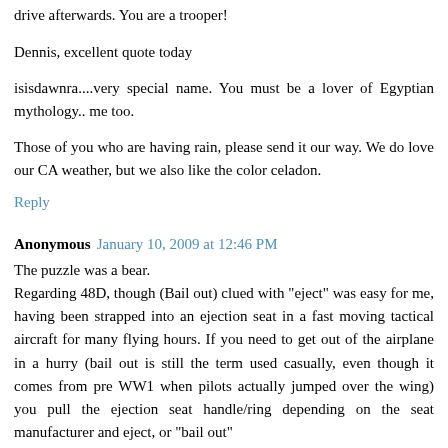drive afterwards. You are a trooper!
Dennis, excellent quote today
isisdawnra....very special name. You must be a lover of Egyptian mythology.. me too.
Those of you who are having rain, please send it our way. We do love our CA weather, but we also like the color celadon.
Reply
Anonymous January 10, 2009 at 12:46 PM
The puzzle was a bear.
Regarding 48D, though (Bail out) clued with "eject" was easy for me, having been strapped into an ejection seat in a fast moving tactical aircraft for many flying hours. If you need to get out of the airplane in a hurry (bail out is still the term used casually, even though it comes from pre WW1 when pilots actually jumped over the wing) you pull the ejection seat handle/ring depending on the seat manufacturer and eject, or "bail out"